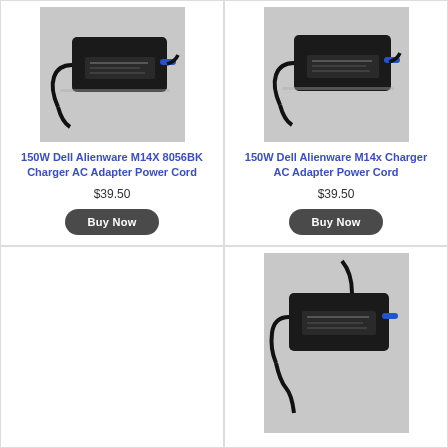[Figure (photo): Black Dell Alienware laptop AC adapter/charger with cable, top-left product card]
150W Dell Alienware M14X 8056BK Charger AC Adapter Power Cord
$39.50
Buy Now
[Figure (photo): Black Dell Alienware laptop AC adapter/charger with cable, top-right product card]
150W Dell Alienware M14x Charger AC Adapter Power Cord
$39.50
Buy Now
[Figure (photo): Black Dell Alienware laptop AC adapter/charger with cable, bottom-right product card (partial)]